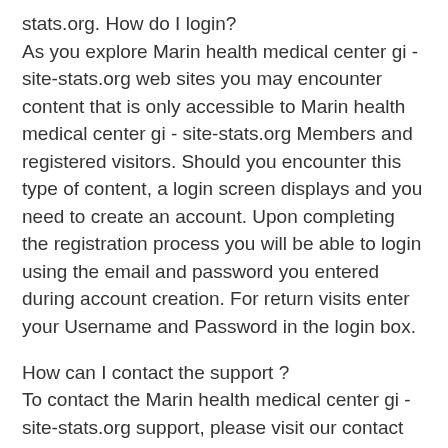stats.org. How do I login?
As you explore Marin health medical center gi - site-stats.org web sites you may encounter content that is only accessible to Marin health medical center gi - site-stats.org Members and registered visitors. Should you encounter this type of content, a login screen displays and you need to create an account. Upon completing the registration process you will be able to login using the email and password you entered during account creation. For return visits enter your Username and Password in the login box.
How can I contact the support ?
To contact the Marin health medical center gi - site-stats.org support, please visit our contact us page. Raise a ticket or mail us on our official id.
I forgot my Marin health medical center gi - site-stats.org password. How do I obtain it?